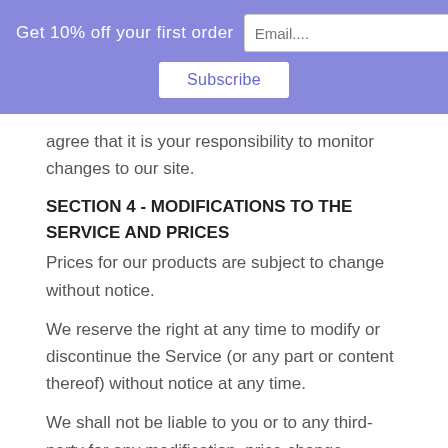Get 10% off your first order  Email....  Subscribe
agree that it is your responsibility to monitor changes to our site.
SECTION 4 - MODIFICATIONS TO THE SERVICE AND PRICES
Prices for our products are subject to change without notice.
We reserve the right at any time to modify or discontinue the Service (or any part or content thereof) without notice at any time.
We shall not be liable to you or to any third-party for any modification, price change, suspension or discontinuance of the Service.